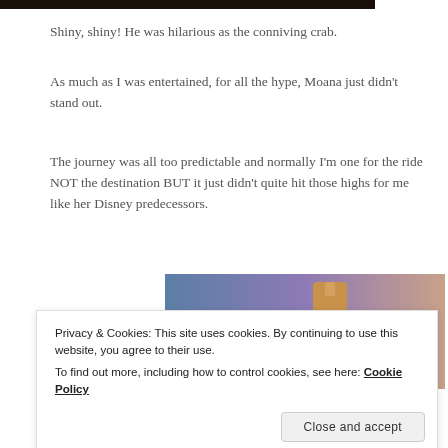[Figure (photo): Partial top edge of a photo, dark tones, cropped at the top of the page]
Shiny, shiny! He was hilarious as the conniving crab.
As much as I was entertained, for all the hype, Moana just didn't stand out.
The journey was all too predictable and normally I'm one for the ride NOT the destination BUT it just didn't quite hit those highs for me like her Disney predecessors.
[Figure (photo): Partial image with blue-to-purple gradient background and a golden/brown bottle-like object in the center-right]
Privacy & Cookies: This site uses cookies. By continuing to use this website, you agree to their use.
To find out more, including how to control cookies, see here: Cookie Policy
Close and accept